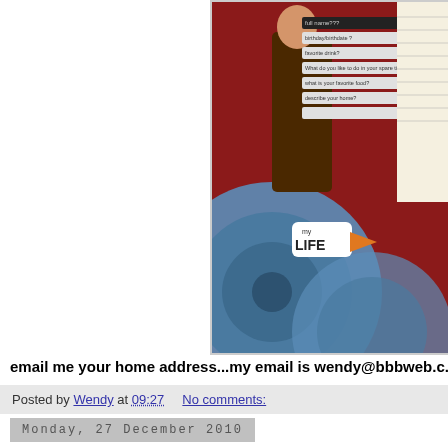[Figure (photo): Scrapbook layout page with dark red background, blue circular/record-like elements, a figure cutout, text label strips with questions, and a 'my LIFE' badge with an orange accent. Partially cropped on right side.]
email me your home address...my email is wendy@bbbweb.c...
Posted by Wendy at 09:27     No comments:
Monday, 27 December 2010
Sew Easy...
My second layout of the month is a page I made for my h...